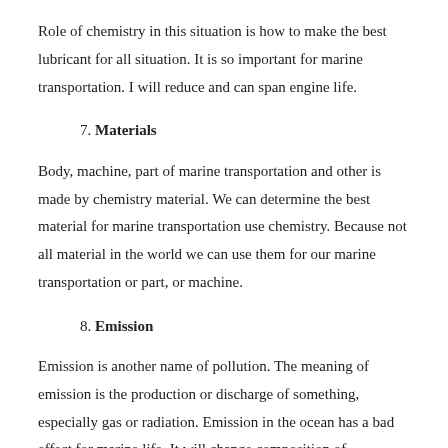Role of chemistry in this situation is how to make the best lubricant for all situation. It is so important for marine transportation. I will reduce and can span engine life.
7. Materials
Body, machine, part of marine transportation and other is made by chemistry material. We can determine the best material for marine transportation use chemistry. Because not all material in the world we can use them for our marine transportation or part, or machine.
8. Emission
Emission is another name of pollution. The meaning of emission is the production or discharge of something, especially gas or radiation. Emission in the ocean has a bad effect for marine life. It will change composition of ecosystem, eliminate some or many marine species and